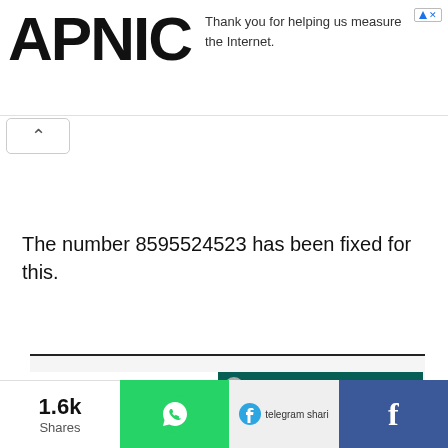APNIC — Thank you for helping us measure the Internet.
The number 8595524523 has been fixed for this.
[Figure (screenshot): Screenshot of a Gujarati educational interface showing a blue box with Gujarati text on the left and a WhatsApp conversation in Gujarati on the right, with a circled button near the bottom.]
1.6k Shares — WhatsApp share | telegram share | Facebook share